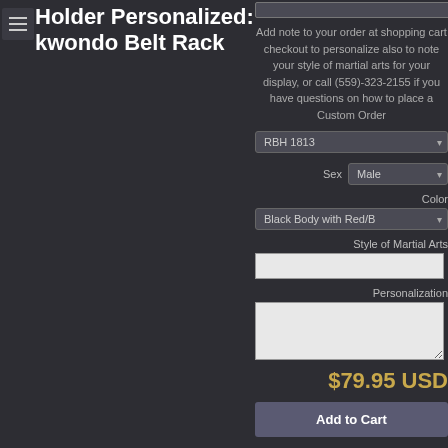Holder Personalized: kwondo Belt Rack
Add note to your order at shopping cart checkout to personalize also to note your style of martial arts for your display, or call (559)-323-2155 if you have questions on how to place a Custom Order
RBH 1813 (dropdown)
Sex: Male (dropdown)
Color: Black Body with Red/B (dropdown)
Style of Martial Arts (text input)
Personalization (textarea)
$79.95 USD
Add to Cart